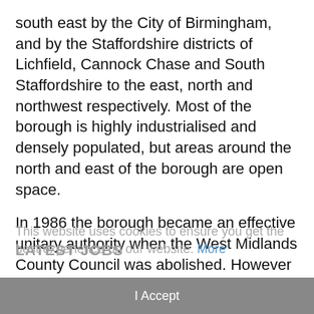south east by the City of Birmingham, and by the Staffordshire districts of Lichfield, Cannock Chase and South Staffordshire to the east, north and northwest respectively. Most of the borough is highly industrialised and densely populated, but areas around the north and east of the borough are open space.
In 1986 the borough became an effective unitary authority when the West Midlands County Council was abolished. However it remains part of the West Midlands for ceremonial purposes, and for functions such as policing, fire and public transport.
LATEST JOBS
This website uses cookies to ensure you get the best experience on our website. More
I Accept